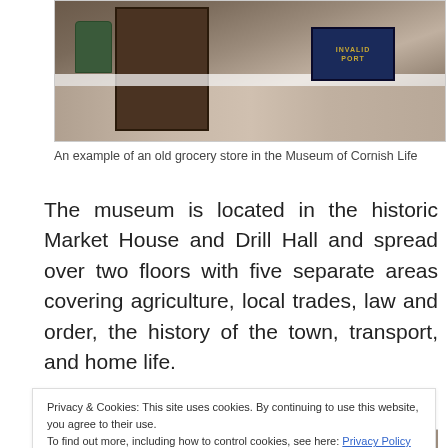[Figure (photo): Interior of an old grocery store showing stone/tile floor, dark wooden door, a green barrel, a white stripe, and a dark blue sign with golden text reading 'INVALID PORT' on the right side.]
An example of an old grocery store in the Museum of Cornish Life
The museum is located in the historic Market House and Drill Hall and spread over two floors with five separate areas covering agriculture, local trades, law and order, the history of the town, transport, and home life.
Privacy & Cookies: This site uses cookies. By continuing to use this website, you agree to their use.
To find out more, including how to control cookies, see here: Privacy Policy
[Figure (photo): Bottom portion of another museum exhibit photo, partially visible.]